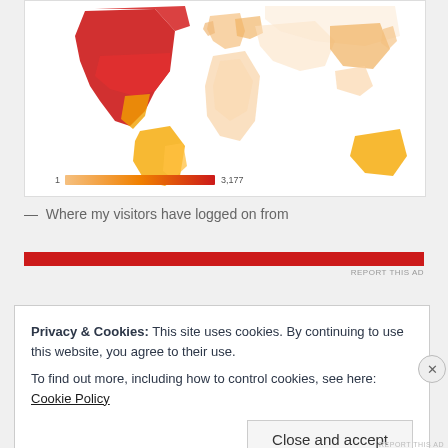[Figure (map): World map showing visitor locations by country, colored from light orange to dark red. North America (USA/Canada) is dark red indicating highest values. A gradient legend bar at bottom shows scale from 1 to 3,177.]
— Where my visitors have logged on from
[Figure (other): Red horizontal advertisement bar with 'REPORT THIS AD' text link on right]
Privacy & Cookies: This site uses cookies. By continuing to use this website, you agree to their use.
To find out more, including how to control cookies, see here: Cookie Policy
Close and accept